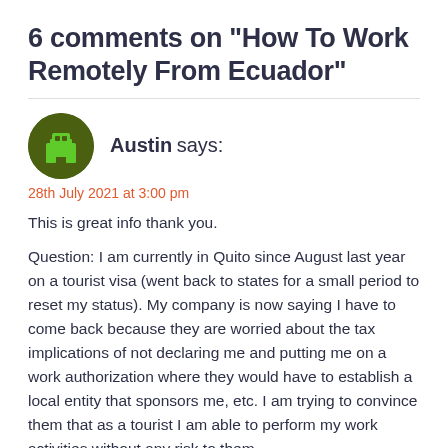6 comments on “How To Work Remotely From Ecuador”
Austin says:
28th July 2021 at 3:00 pm
This is great info thank you.
Question: I am currently in Quito since August last year on a tourist visa (went back to states for a small period to reset my status). My company is now saying I have to come back because they are worried about the tax implications of not declaring me and putting me on a work authorization where they would have to establish a local entity that sponsors me, etc. I am trying to convince them that as a tourist I am able to perform my work activities without any risk to them.